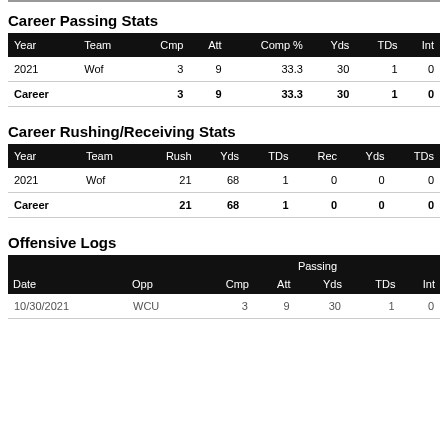Career Passing Stats
| Year | Team | Cmp | Att | Comp % | Yds | TDs | Int |
| --- | --- | --- | --- | --- | --- | --- | --- |
| 2021 | Wof | 3 | 9 | 33.3 | 30 | 1 | 0 |
| Career |  | 3 | 9 | 33.3 | 30 | 1 | 0 |
Career Rushing/Receiving Stats
| Year | Team | Rush | Yds | TDs | Rec | Yds | TDs |
| --- | --- | --- | --- | --- | --- | --- | --- |
| 2021 | Wof | 21 | 68 | 1 | 0 | 0 | 0 |
| Career |  | 21 | 68 | 1 | 0 | 0 | 0 |
Offensive Logs
| Date | Opp | Passing: Cmp | Passing: Att | Passing: Yds | Passing: TDs | Passing: Int |
| --- | --- | --- | --- | --- | --- | --- |